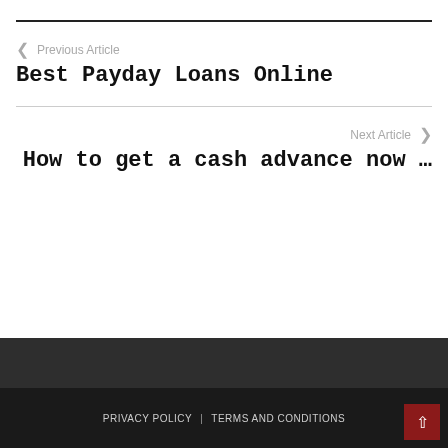Previous Article
Best Payday Loans Online
Next Article
How to get a cash advance now …
PRIVACY POLICY   TERMS AND CONDITIONS